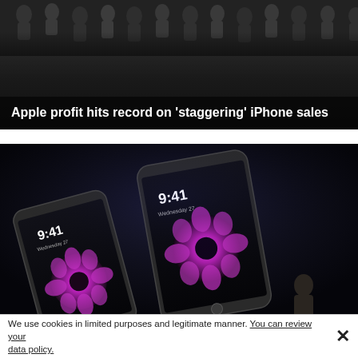[Figure (photo): Crowd of people silhouetted against a dark background, viewed from below, at an Apple event.]
Apple profit hits record on 'staggering' iPhone sales
[Figure (photo): Two iPhones (iPhone 6 and iPhone 6 Plus) displayed on a dark stage showing 9:41 time and purple flower wallpaper, with a presenter visible at the bottom right.]
We use cookies in limited purposes and legitimate manner. You can review your data policy.